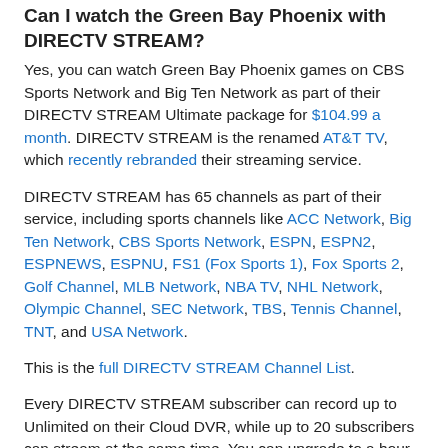Can I watch the Green Bay Phoenix with DIRECTV STREAM?
Yes, you can watch Green Bay Phoenix games on CBS Sports Network and Big Ten Network as part of their DIRECTV STREAM Ultimate package for $104.99 a month. DIRECTV STREAM is the renamed AT&T TV, which recently rebranded their streaming service.
DIRECTV STREAM has 65 channels as part of their service, including sports channels like ACC Network, Big Ten Network, CBS Sports Network, ESPN, ESPN2, ESPNEWS, ESPNU, FS1 (Fox Sports 1), Fox Sports 2, Golf Channel, MLB Network, NBA TV, NHL Network, Olympic Channel, SEC Network, TBS, Tennis Channel, TNT, and USA Network.
This is the full DIRECTV STREAM Channel List.
Every DIRECTV STREAM subscriber can record up to Unlimited on their Cloud DVR, while up to 20 subscribers can stream at the same time. You can upgrade to a hour Cloud DVR for $ a month.
DIRECTV STREAM supports a wide-range of devices to stream Green Bay Phoenix games including Amazon Fire TV, Apple TV,